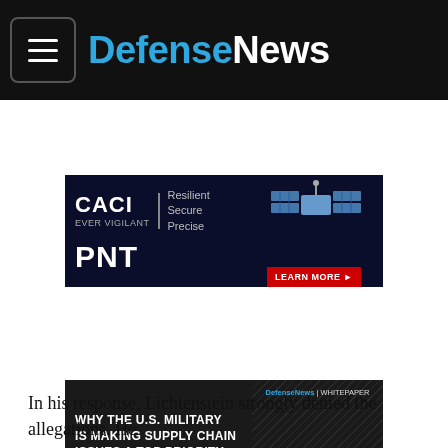DefenseNews
[Figure (screenshot): CACI advertisement banner — Resilient Secure Precise PNT with satellite imagery and LEARN MORE button]
[Figure (screenshot): DefenseNews whitepaper advertisement — WHY THE U.S. MILITARY IS MAKING SUPPLY CHAIN ISSUES A TOP PRIORITY with DOWNLOAD button]
In his response, Lichtenstein strongly denied the allegations. He